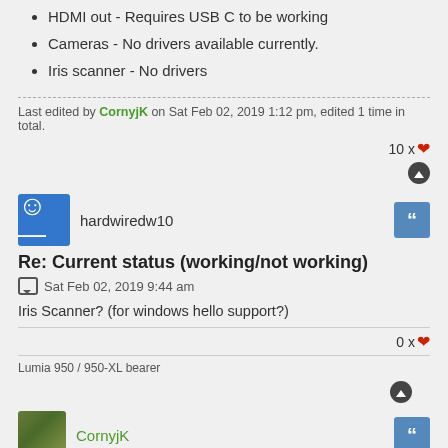HDMI out - Requires USB C to be working
Cameras - No drivers available currently.
Iris scanner - No drivers
Last edited by CornyjK on Sat Feb 02, 2019 1:12 pm, edited 1 time in total.
10 x ♥
hardwiredw10
Re: Current status (working/not working)
Sat Feb 02, 2019 9:44 am
Iris Scanner? (for windows hello support?)
0 x ♥
Lumia 950 / 950-XL bearer
CornyjK
Re: Current status (working/not working)